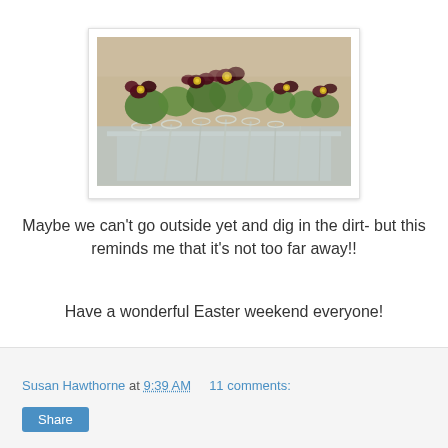[Figure (photo): Photo of pansy flowers in small crystal/glass vases arranged on a mirrored tray, with deep burgundy and yellow blooms with green leaves.]
Maybe we can't go outside yet and dig in the dirt- but this reminds me that it's not too far away!!
Have a wonderful Easter weekend everyone!
Susan Hawthorne at 9:39 AM   11 comments: